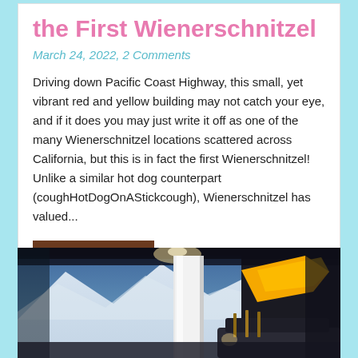the First Wienerschnitzel
March 24, 2022, 2 Comments
Driving down Pacific Coast Highway, this small, yet vibrant red and yellow building may not catch your eye, and if it does you may just write it off as one of the many Wienerschnitzel locations scattered across California, but this is in fact the first Wienerschnitzel! Unlike a similar hot dog counterpart (coughHotDogOnAStickcough), Wienerschnitzel has valued...
Read More...
[Figure (photo): Indoor exhibition or museum space with large mountain/sky mural on the wall, white architectural column, and part of a vehicle with yellow and gold decorative elements visible in the foreground. Dark ceiling with spotlights.]